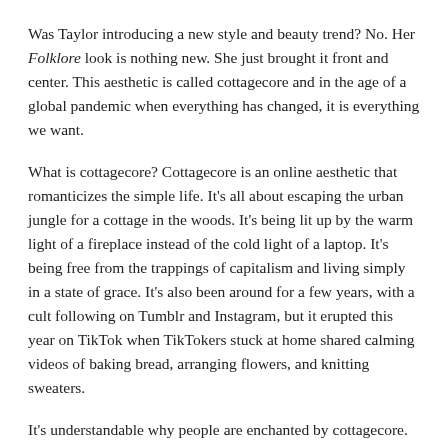Was Taylor introducing a new style and beauty trend? No. Her Folklore look is nothing new. She just brought it front and center. This aesthetic is called cottagecore and in the age of a global pandemic when everything has changed, it is everything we want.
What is cottagecore? Cottagecore is an online aesthetic that romanticizes the simple life. It's all about escaping the urban jungle for a cottage in the woods. It's being lit up by the warm light of a fireplace instead of the cold light of a laptop. It's being free from the trappings of capitalism and living simply in a state of grace. It's also been around for a few years, with a cult following on Tumblr and Instagram, but it erupted this year on TikTok when TikTokers stuck at home shared calming videos of baking bread, arranging flowers, and knitting sweaters.
It's understandable why people are enchanted by cottagecore. Trapped indoors because of the pandemic, a peek at an uncomplicated life where your biggest concern is what herbs from your windowsill garden will go on the focaccia you're about to put in your oven invokes feelings of being safe and sound. Since we know all too well that the world right now is confusing and terrifying, the cottagecore dream is having a moment.